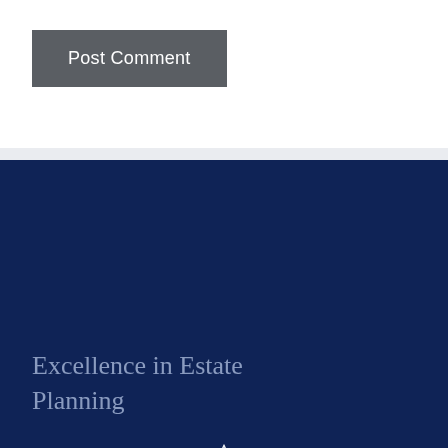Post Comment
Excellence in Estate Planning
[Figure (logo): Singh Law Firm logo — stylized column/torch icon above the text SINGH in bold, LAW FIRM in spaced caps, and 'exclusively estate planning' in italic script]
510-742-9500